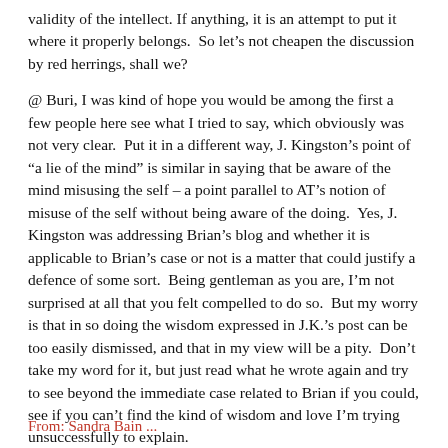validity of the intellect. If anything, it is an attempt to put it where it properly belongs.  So let’s not cheapen the discussion by red herrings, shall we?
@ Buri, I was kind of hope you would be among the first a few people here see what I tried to say, which obviously was not very clear.  Put it in a different way, J. Kingston’s point of “a lie of the mind” is similar in saying that be aware of the mind misusing the self – a point parallel to AT’s notion of misuse of the self without being aware of the doing.  Yes, J. Kingston was addressing Brian’s blog and whether it is applicable to Brian’s case or not is a matter that could justify a defence of some sort.  Being gentleman as you are, I’m not surprised at all that you felt compelled to do so.  But my worry is that in so doing the wisdom expressed in J.K.’s post can be too easily dismissed, and that in my view will be a pity.  Don’t take my word for it, but just read what he wrote again and try to see beyond the immediate case related to Brian if you could, see if you can’t find the kind of wisdom and love I’m trying unsuccessfully to explain.
From: Sandra Bain ...